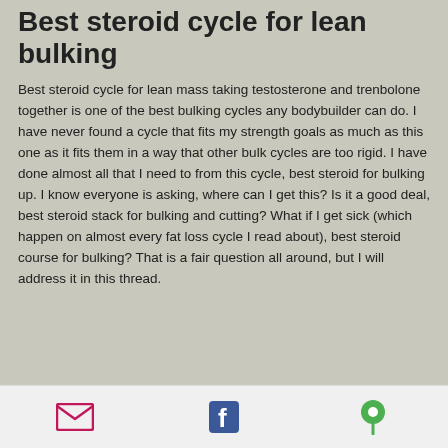Best steroid cycle for lean bulking
Best steroid cycle for lean mass taking testosterone and trenbolone together is one of the best bulking cycles any bodybuilder can do. I have never found a cycle that fits my strength goals as much as this one as it fits them in a way that other bulk cycles are too rigid. I have done almost all that I need to from this cycle, best steroid for bulking up. I know everyone is asking, where can I get this? Is it a good deal, best steroid stack for bulking and cutting? What if I get sick (which happen on almost every fat loss cycle I read about), best steroid course for bulking? That is a fair question all around, but I will address it in this thread.
Email | Facebook | Location icons